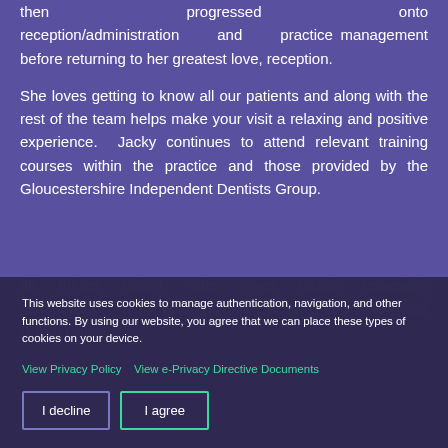then progressed onto reception/administration and practice management before returning to her greatest love, reception.

She loves getting to know all our patients and along with the rest of the team helps make your visit a relaxing and positive experience. Jacky continues to attend relevant training courses within the practice and those provided by the Gloucestershire Independent Dentists Group.
This website uses cookies to manage authentication, navigation, and other functions. By using our website, you agree that we can place these types of cookies on your device.
View Privacy Policy   View e-Privacy Directive Documents
I decline   I agree